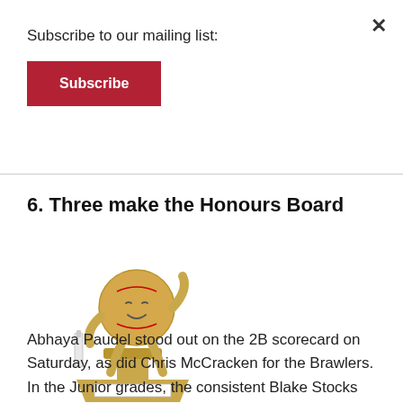Subscribe to our mailing list:
Subscribe
6. Three make the Honours Board
[Figure (photo): A gold cricket trophy figurine with a cricket ball character holding a bat, mounted on a base with a white name plate.]
Abhaya Paudel stood out on the 2B scorecard on Saturday, as did Chris McCracken for the Brawlers. In the Junior grades, the consistent Blake Stocks from